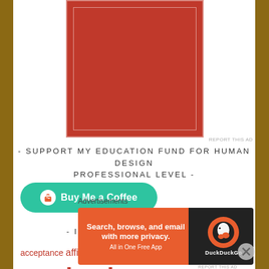[Figure (other): Red advertisement banner box with white inner border]
REPORT THIS AD
- SUPPORT MY EDUCATION FUND FOR HUMAN DESIGN PROFESSIONAL LEVEL -
[Figure (other): Buy Me a Coffee green button with coffee cup icon]
- IMPORTANT KEYWORDS -
acceptance affirmation anger anxiety awakening
Advertisements
[Figure (other): DuckDuckGo advertisement banner: Search, browse, and email with more privacy. All in One Free App]